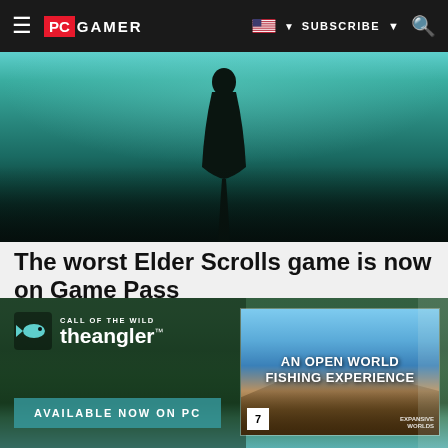PC GAMER — SUBSCRIBE
[Figure (screenshot): PC Gamer website screenshot showing a dark teal/underwater hero image with a dark silhouetted figure]
The worst Elder Scrolls game is now on Game Pass
As part of the launch of QuakeCon this weekend, recently minted Microsoft subsidiaries id Software and ...
PC Gamer
[Figure (photo): Call of the Wild: the Angler advertisement banner featuring fishing in a wilderness setting with the text AN OPEN WORLD FISHING EXPERIENCE and AVAILABLE NOW ON PC]